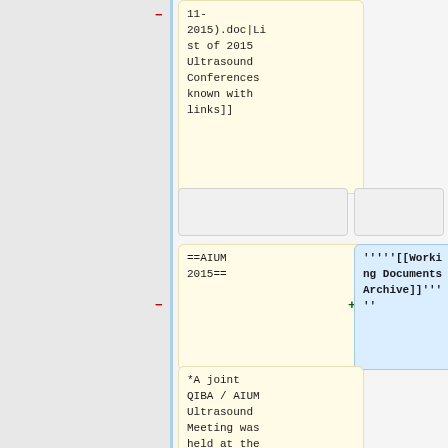11-2015).doc|List of 2015 Ultrasound Conferences known with links]]
==AIUM 2015==
'''''[[Working Documents Archive]]'''''
*A joint QIBA / AIUM Ultrasound Meeting was held at the recent AIUM 2015 Annual Convention